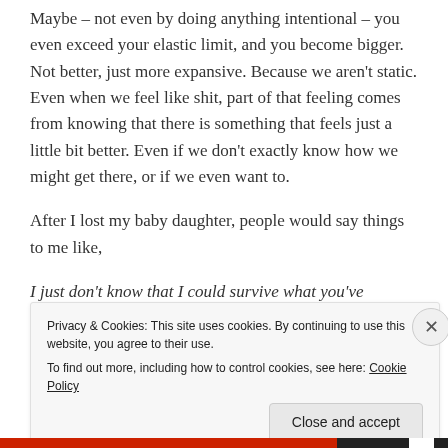Maybe – not even by doing anything intentional – you even exceed your elastic limit, and you become bigger. Not better, just more expansive. Because we aren't static. Even when we feel like shit, part of that feeling comes from knowing that there is something that feels just a little bit better. Even if we don't exactly know how we might get there, or if we even want to.
After I lost my baby daughter, people would say things to me like,
I just don't know that I could survive what you've survived.
Privacy & Cookies: This site uses cookies. By continuing to use this website, you agree to their use.
To find out more, including how to control cookies, see here: Cookie Policy